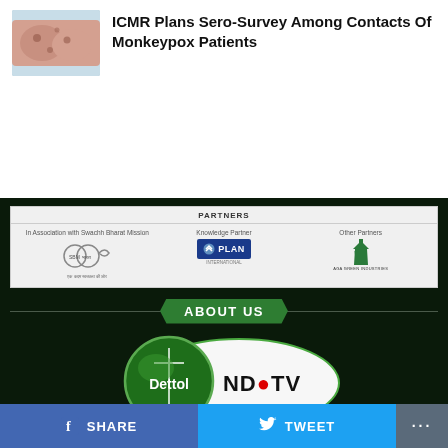[Figure (photo): Thumbnail photo of skin with monkeypox lesions on a blue background]
ICMR Plans Sero-Survey Among Contacts Of Monkeypox Patients
[Figure (infographic): Partners section showing: In Association with Swachh Bharat Mission logo, Knowledge Partner Plan International logo, Other Partners AGA Green Industries logo]
ABOUT US
[Figure (logo): Dettol NDTV partnership logo — Dettol green circle overlapping NDTV white oval]
[Figure (infographic): Bottom social sharing bar with Facebook SHARE, Twitter TWEET, and more (…) buttons]